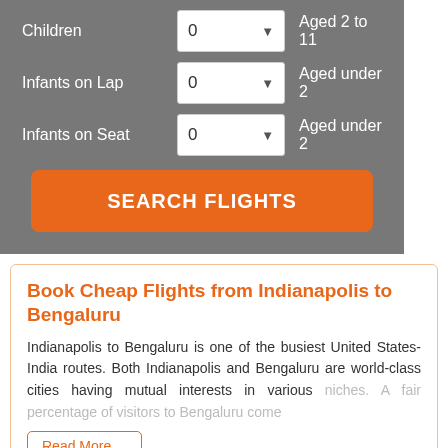Children  0  Aged 2 to 11
Infants on Lap  0  Aged under 2
Infants on Seat  0  Aged under 2
SEARCH FLIGHTS
Book Cheap Flights from Indianapolis to Bengaluru
Indianapolis to Bengaluru is one of the busiest United States-India routes. Both Indianapolis and Bengaluru are world-class cities having mutual interests in various niches. A fair percentage of visitors to Bengaluru come
Read More ˅